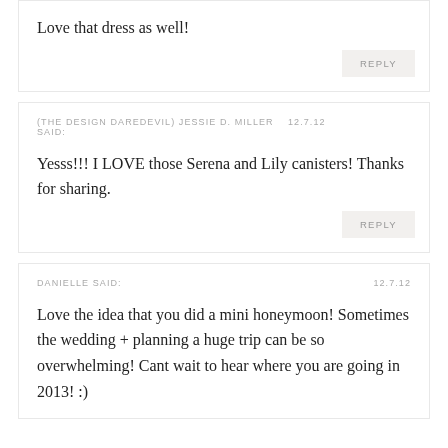Love that dress as well!
REPLY
(THE DESIGN DAREDEVIL) JESSIE D. MILLER   12.7.12 SAID:
Yesss!!! I LOVE those Serena and Lily canisters! Thanks for sharing.
REPLY
DANIELLE SAID:   12.7.12
Love the idea that you did a mini honeymoon! Sometimes the wedding + planning a huge trip can be so overwhelming! Cant wait to hear where you are going in 2013! :)